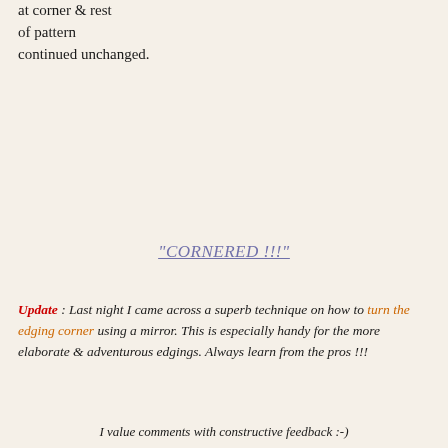at corner & rest of pattern continued unchanged.
"CORNERED !!!"
Update : Last night I came across a superb technique on how to turn the edging corner using a mirror. This is especially handy for the more elaborate & adventurous edgings. Always learn from the pros !!!
I value comments with constructive feedback :-)